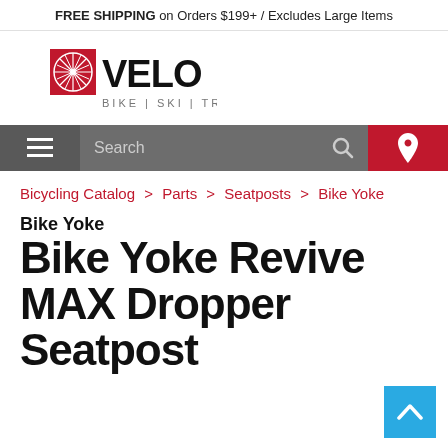FREE SHIPPING on Orders $199+ / Excludes Large Items
[Figure (logo): Velo Bike Ski Trail logo with red wheel graphic]
Search
Bicycling Catalog > Parts > Seatposts > Bike Yoke
Bike Yoke
Bike Yoke Revive MAX Dropper Seatpost